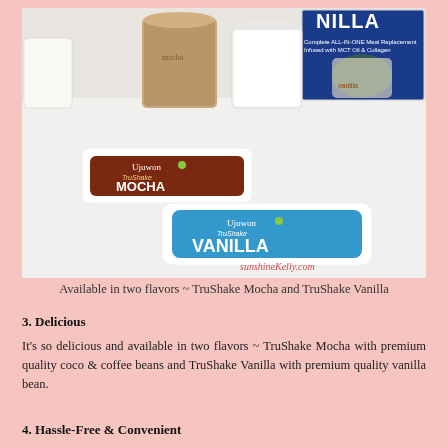[Figure (photo): Photo of Ujuwon TruShake Mocha and Vanilla meal replacement sachets/packets displayed alongside two glasses of shakes. A white TruShake Mocha packet with brown label and a TruShake Vanilla packet in blue-and-white are shown. A box with 'VANILLA' text is visible in the background. Watermark: sunshineKelly.com]
Available in two flavors ~ TruShake Mocha and TruShake Vanilla
3. Delicious
It's so delicious and available in two flavors ~ TruShake Mocha with premium quality coco & coffee beans and TruShake Vanilla with premium quality vanilla bean.
4. Hassle-Free & Convenient